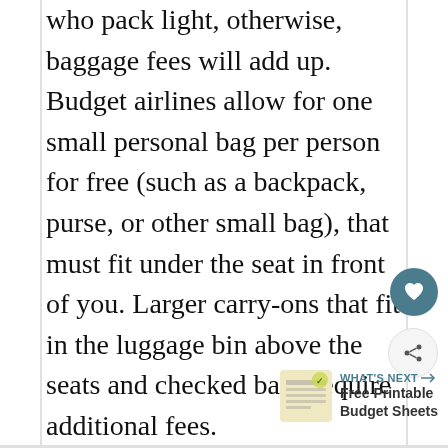Budget flights are a great option for those who pack light, otherwise, baggage fees will add up. Budget airlines allow for one small personal bag per person for free (such as a backpack, purse, or other small bag), that must fit under the seat in front of you. Larger carry-ons that fit in the luggage bin above the seats and checked bags require additional fees.
[Figure (other): Heart/favorite button - teal circular button with white heart icon]
[Figure (other): Share button - light gray circular button with share/network icon]
[Figure (other): What's Next promo box with thumbnail image and text 'WHAT'S NEXT → Free Printable Budget Sheets']